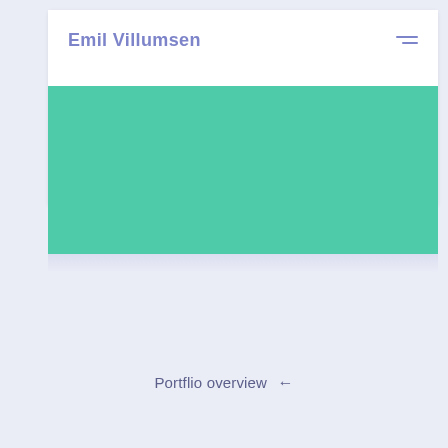Emil Villumsen
[Figure (illustration): A solid teal/mint colored rectangular block representing a portfolio image placeholder]
Portflio overview ←